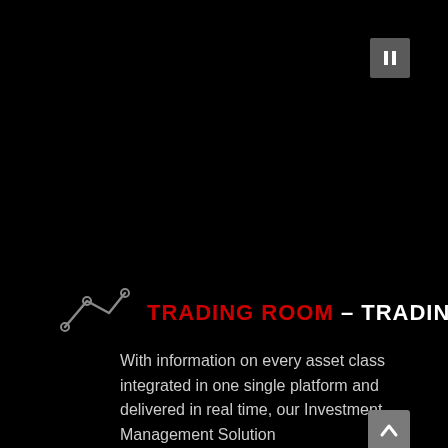[Figure (other): Pause button icon (two vertical bars) in a grey square, top-right corner]
TRADING ROOM – TRADING PORTAL
With information on every asset class integrated in one single platform and delivered in real time, our Investment Management Solution